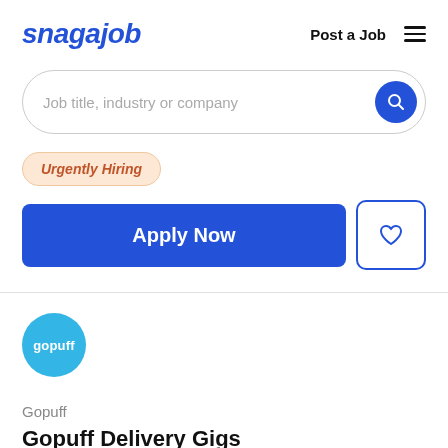snagajob | Post a Job ☰
Job title, industry or company
Urgently Hiring
Apply Now
[Figure (logo): Gopuff company logo — cyan circle with white 'gopuff' text]
Gopuff
Gopuff Delivery Gigs